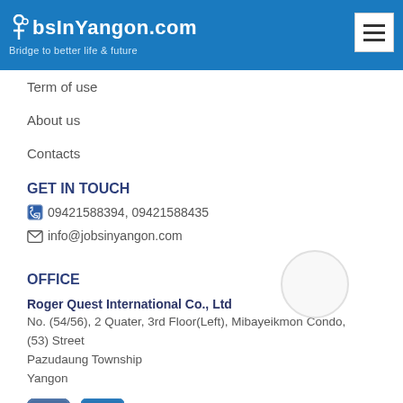JobsInYangon.com – Bridge to better life & future
Term of use
About us
Contacts
GET IN TOUCH
📞 09421588394, 09421588435
✉ info@jobsinyangon.com
OFFICE
Roger Quest International Co., Ltd
No. (54/56), 2 Quater, 3rd Floor(Left), Mibayeikmon Condo, (53) Street
Pazudaung Township
Yangon
[Figure (logo): Facebook and LinkedIn social media icons]